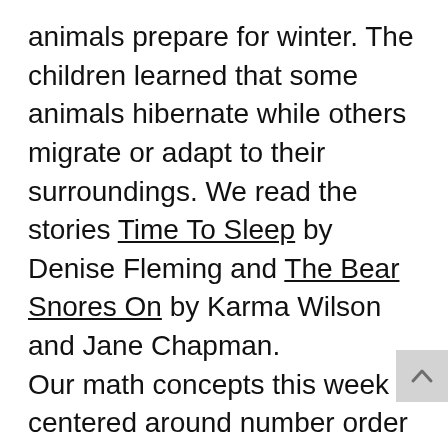animals prepare for winter. The children learned that some animals hibernate while others migrate or adapt to their surroundings. We read the stories Time To Sleep by Denise Fleming and The Bear Snores On by Karma Wilson and Jane Chapman. Our math concepts this week centered around number order and sorting. The children put puzzle pieces together in numerical order forming an animal pictures. We used dice to count bears and sort them into caves by color. Our letter of the week was the letter “H”. The children used hole punches to search for the letter H and then punched it, strengthening their fine motor skills.